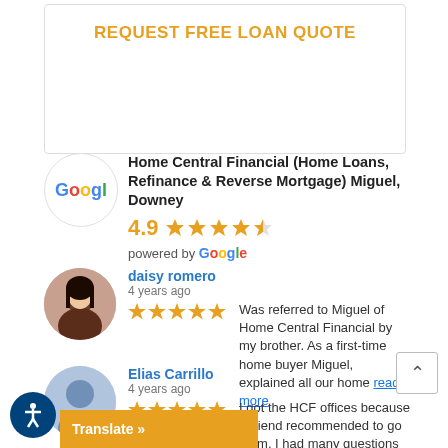REQUEST FREE LOAN QUOTE
[Figure (logo): Google logo circle]
Home Central Financial (Home Loans, Refinance & Reverse Mortgage) Miguel, Downey
4.9 ★★★★☆ powered by Google
[Figure (photo): Daisy romero profile photo]
daisy romero
4 years ago
Was referred to Miguel of Home Central Financial by my brother. As a first-time home buyer Miguel, explained all our home read more
[Figure (illustration): Elias Carrillo generic user avatar]
Elias Carrillo
4 years ago
I got the HCF offices because a friend recommended to go them. I had many questions to ask they had the answers read more